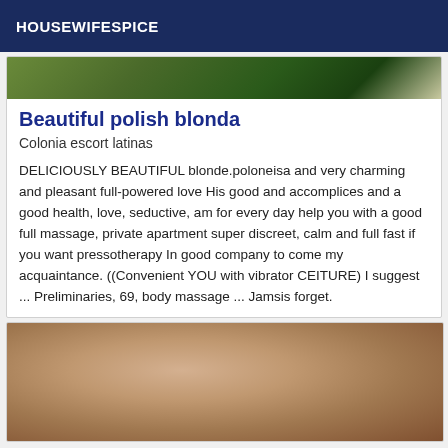HOUSEWIFESPICE
[Figure (photo): Partial photo at top of card, showing outdoor foliage/green tones]
Beautiful polish blonda
Colonia escort latinas
DELICIOUSLY BEAUTIFUL blonde.poloneisa and very charming and pleasant full-powered love His good and accomplices and a good health, love, seductive, am for every day help you with a good full massage, private apartment super discreet, calm and full fast if you want pressotherapy In good company to come my acquaintance. ((Convenient YOU with vibrator CEITURE) I suggest ... Preliminaries, 69, body massage ... Jamsis forget.
[Figure (photo): Photo of a person, showing hair and skin tones at bottom of page]